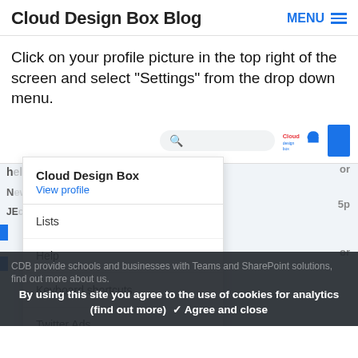Cloud Design Box Blog
Click on your profile picture in the top right of the screen and select “Settings” from the drop down menu.
[Figure (screenshot): Screenshot of a Twitter/social media profile dropdown menu showing options: Cloud Design Box (account name), View profile, Lists, Help, Keyboard shortcuts, Twitter Ads, Analytics. The dropdown overlays a webpage with a search bar and the Cloud Design Box logo visible in the top bar.]
By using this site you agree to the use of cookies for analytics (find out more)  ✓ Agree and close